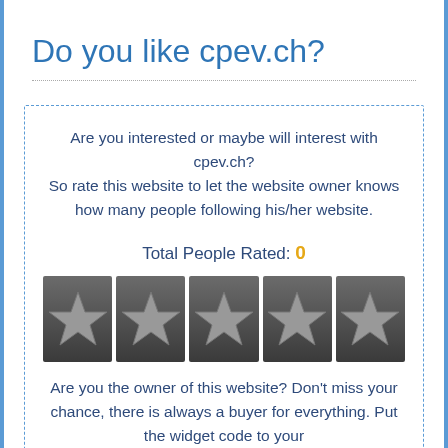Do you like cpev.ch?
Are you interested or maybe will interest with cpev.ch?
So rate this website to let the website owner knows how many people following his/her website.
Total People Rated: 0
[Figure (other): Five star rating widget with five gray star icons on dark gray square backgrounds]
Are you the owner of this website? Don't miss your chance, there is always a buyer for everything. Put the widget code to your